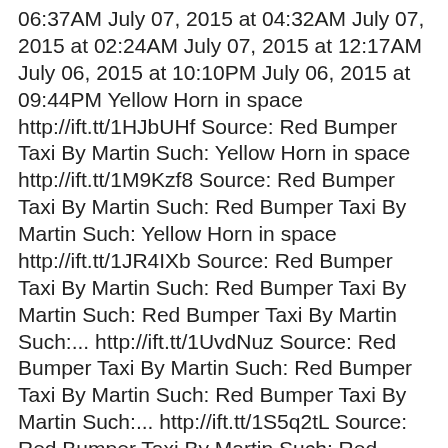06:37AM July 07, 2015 at 04:32AM July 07, 2015 at 02:24AM July 07, 2015 at 12:17AM July 06, 2015 at 10:10PM July 06, 2015 at 09:44PM Yellow Horn in space http://ift.tt/1HJbUHf Source: Red Bumper Taxi By Martin Such: Yellow Horn in space http://ift.tt/1M9Kzf8 Source: Red Bumper Taxi By Martin Such: Red Bumper Taxi By Martin Such: Yellow Horn in space http://ift.tt/1JR4IXb Source: Red Bumper Taxi By Martin Such: Red Bumper Taxi By Martin Such: Red Bumper Taxi By Martin Such:... http://ift.tt/1UvdNuz Source: Red Bumper Taxi By Martin Such: Red Bumper Taxi By Martin Such: Red Bumper Taxi By Martin Such:... http://ift.tt/1S5q2tL Source: Red Bumper Taxi By Martin Such: Red Bumper Taxi By Martin Such: Red Bumper Taxi By Martin Such:... http://ift.tt/1HaCzpQ Source: Red Bumper Taxi By Martin Such: Red Bumper Taxi By Martin Such: Red Bumper Taxi By Martin Such:... http://ift.tt/1LQm0G6 Source: Red Bumper Taxi By Martin Such: Red Bumper Taxi By Martin Such: Red Bumper Taxi By Martin Such:... http://ift.tt/1HLn38p Source: Red Bumper Taxi By Martin Such: Red Bumper Taxi By Martin Such: Red Bumper Taxi By Martin Such:... http://ift.tt/1G5EsTN Source: Red Bumper Taxi By Martin Such: Red Bumper Taxi By Martin Such: Red Bumper Taxi By Martin Such: